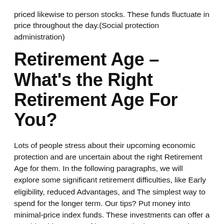priced likewise to person stocks. These funds fluctuate in price throughout the day.(Social protection administration)
Retirement Age – What's the Right Retirement Age For You?
Lots of people stress about their upcoming economic protection and are uncertain about the right Retirement Age for them. In the following paragraphs, we will explore some significant retirement difficulties, like Early eligibility, reduced Advantages, and The simplest way to spend for the longer term. Our tips? Put money into minimal-price index funds. These investments can offer a considerable stream of income to the long-expression. Also they are tax-deferred. That is a superior time to start investing in index funds, especially if you might be just starting to build a nest egg.